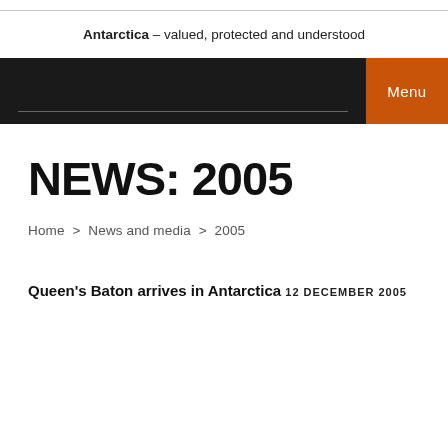Antarctica – valued, protected and understood
NEWS: 2005
Home > News and media > 2005
Queen's Baton arrives in Antarctica 12 DECEMBER 2005